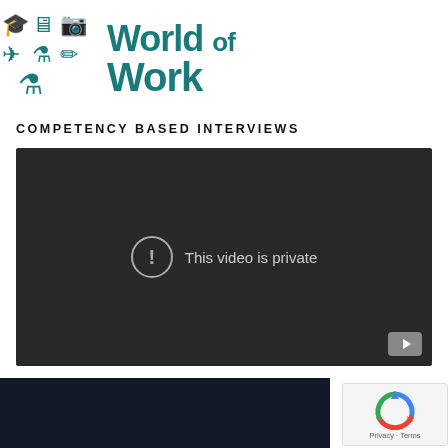[Figure (logo): World of Work logo with teal icons (graduation cap, computer, camera, airplane, flask, pencil) and bold teal text 'World of Work']
COMPETENCY BASED INTERVIEWS
[Figure (screenshot): Embedded YouTube video player showing 'This video is private' message with a warning icon circle and YouTube button in bottom right corner, dark background]
RCLAYS LIFE SKILLS INTERVIEW SKILLS
[Figure (logo): reCAPTCHA widget with spinning arrow logo and 'Privacy - Terms' text]